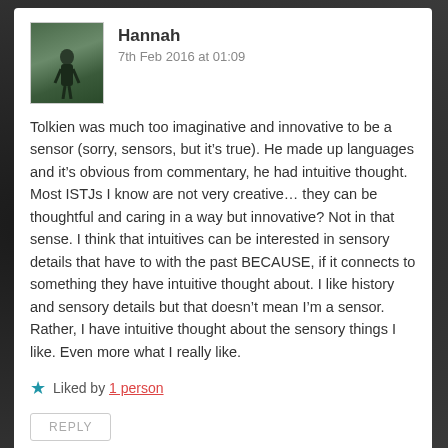[Figure (photo): Avatar photo of Hannah - person standing outdoors in wooded/natural setting]
Hannah
7th Feb 2016 at 01:09
Tolkien was much too imaginative and innovative to be a sensor (sorry, sensors, but it’s true). He made up languages and it’s obvious from commentary, he had intuitive thought. Most ISTJs I know are not very creative… they can be thoughtful and caring in a way but innovative? Not in that sense. I think that intuitives can be interested in sensory details that have to with the past BECAUSE, if it connects to something they have intuitive thought about. I like history and sensory details but that doesn’t mean I’m a sensor. Rather, I have intuitive thought about the sensory things I like. Even more what I really like.
Liked by 1 person
REPLY
[Figure (photo): Avatar photo of Arvid Walton - person near a fence/railing structure]
Arvid Walton